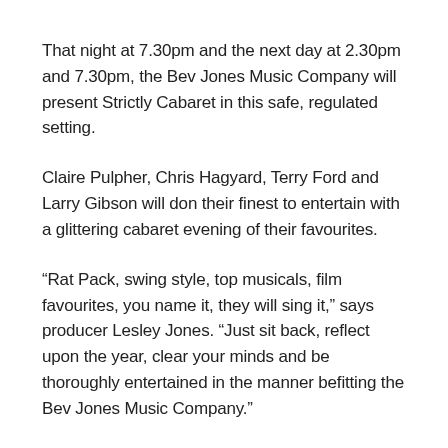That night at 7.30pm and the next day at 2.30pm and 7.30pm, the Bev Jones Music Company will present Strictly Cabaret in this safe, regulated setting.
Claire Pulpher, Chris Hagyard, Terry Ford and Larry Gibson will don their finest to entertain with a glittering cabaret evening of their favourites.
“Rat Pack, swing style, top musicals, film favourites, you name it, they will sing it,” says producer Lesley Jones. “Just sit back, reflect upon the year, clear your minds and be thoroughly entertained in the manner befitting the Bev Jones Music Company.”